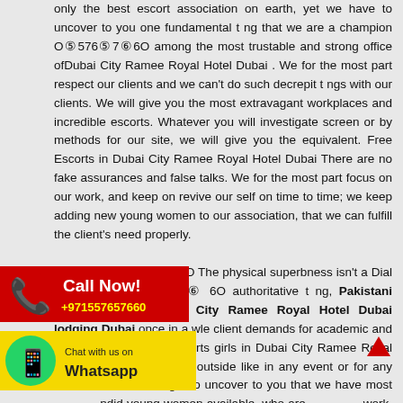only the best escort association on earth, yet we have to uncover to you one fundamental t ng that we are a champion O⑤576⑤7⑥6O among the most trustable and strong office ofDubai City Ramee Royal Hotel Dubai . We for the most part respect our clients and we can't do such decrepit t ngs with our clients. We will give you the most extravagant workplaces and incredible escorts. Whatever you will investigate screen or by methods for our site, we will give you the equivalent. Free Escorts in Dubai City Ramee Royal Hotel Dubai There are no fake assurances and false talks. We for the most part focus on our work, and keep on revive our self on time to time; we keep adding new young women to our association, that we can fulfill the client's need properly.

Call Me> O⑤576⑤7⑥6O The physical superbness isn't a Dial Now: O ⑤ 576 ⑤ 7 ⑥ 6O authoritative t ng, Pakistani Escorts escort Dubai City Ramee Royal Hotel Dubai lodging Dubai once in a while client demands for academic and canny young orts girls in Dubai City Ramee Royal Hotel ke her outside like in any event or for any ssion. So we ought to uncover to you that we have most ndid young women available, who are work, they know greatly well how to interface with people in gathering and the proper behavior with your known
[Figure (infographic): Red 'Call Now!' banner with phone icon and number +971557657660]
[Figure (infographic): Yellow WhatsApp banner with green WhatsApp icon and text 'Chat with us on Whatsapp']